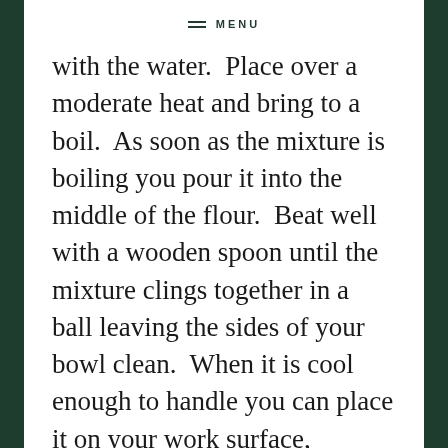MENU
with the water.  Place over a moderate heat and bring to a boil.  As soon as the mixture is boiling you pour it into the middle of the flour.  Beat well with a wooden spoon until the mixture clings together in a ball leaving the sides of your bowl clean.  When it is cool enough to handle you can place it on your work surface, kneading lightly until it is smooth.
The pastry was then set on the floured work surface and rolled out so that we could cut